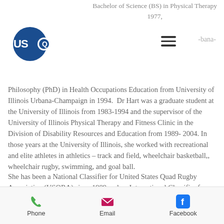Bachelor of Science (BS) in Physical Therapy 1977,
[Figure (logo): USQRA logo — blue circle with letters US Q RA in white]
Philosophy (PhD) in Health Occupations Education from University of Illinois Urbana-Champaign in 1994.  Dr Hart was a graduate student at the University of Illinois from 1983-1994 and the supervisor of the University of Illinois Physical Therapy and Fitness Clinic in the Division of Disability Resources and Education from 1989- 2004. In those years at the University of Illinois, she worked with recreational and elite athletes in athletics – track and field, wheelchair basketball,, wheelchair rugby, swimming, and goal ball.
She has been a National Classifier for United States Quad Rugby Association (USQRA) since 1989 and an International Classifier for
Phone   Email   Facebook